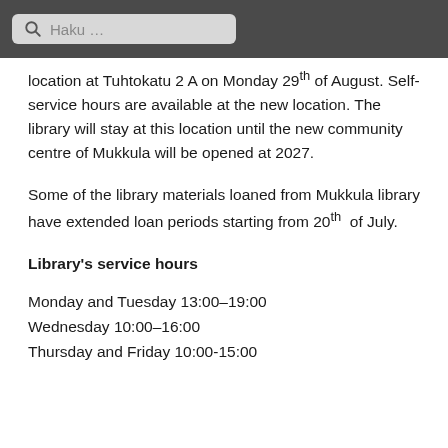Haku ...
location at Tuhtokatu 2 A on Monday 29th of August. Self-service hours are available at the new location. The library will stay at this location until the new community centre of Mukkula will be opened at 2027.
Some of the library materials loaned from Mukkula library have extended loan periods starting from 20th of July.
Library's service hours
Monday and Tuesday 13:00–19:00
Wednesday 10:00–16:00
Thursday and Friday 10:00-15:00